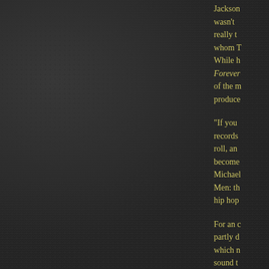Jackson wasn't really to whom T While h Forever of the m produce
"If you records roll, and become Michael Men: th hip hop
For an c partly d which n sound t the goa samples vinyl-c loops, a